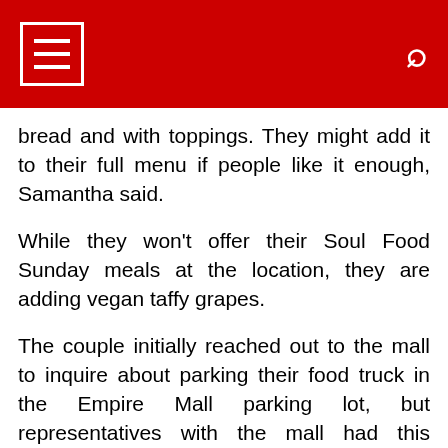bread and with toppings. They might add it to their full menu if people like it enough, Samantha said.
While they won't offer their Soul Food Sunday meals at the location, they are adding vegan taffy grapes.
The couple initially reached out to the mall to inquire about parking their food truck in the Empire Mall parking lot, but representatives with the mall had this opportunity for them, too.
"We're hoping to reach a different crowd here," Samantha said. "It'll likely be people who are coming to town and the mall who aren't